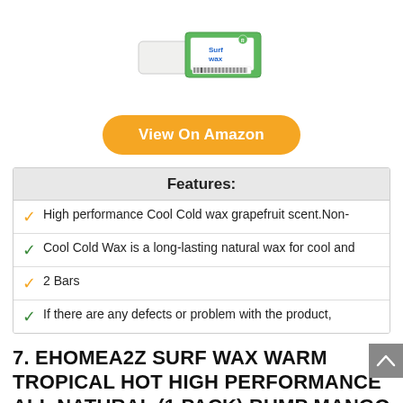[Figure (photo): Product image of surf wax bar with green and white packaging labeled 'Surf Wax']
[Figure (other): Orange 'View On Amazon' button]
| Features: |
| --- |
| ✓ High performance Cool Cold wax grapefruit scent.Non- |
| ✓ Cool Cold Wax is a long-lasting natural wax for cool and |
| ✓ 2 Bars |
| ✓ If there are any defects or problem with the product, |
7. EHOMEA2Z SURF WAX WARM TROPICAL HOT HIGH PERFORMANCE ALL NATURAL (1 PACK) BUMP MANGO SCENT SURFWAX